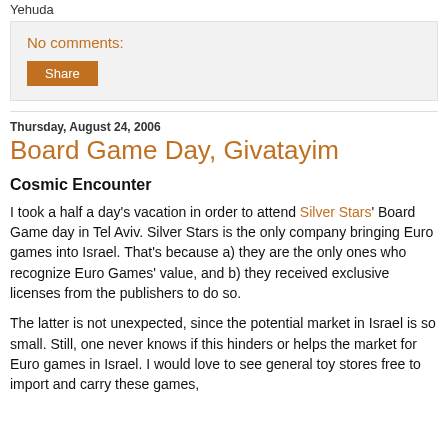Yehuda
No comments:
Share
Thursday, August 24, 2006
Board Game Day, Givatayim
Cosmic Encounter
I took a half a day's vacation in order to attend Silver Stars' Board Game day in Tel Aviv. Silver Stars is the only company bringing Euro games into Israel. That's because a) they are the only ones who recognize Euro Games' value, and b) they received exclusive licenses from the publishers to do so.
The latter is not unexpected, since the potential market in Israel is so small. Still, one never knows if this hinders or helps the market for Euro games in Israel. I would love to see general toy stores free to import and carry these games,